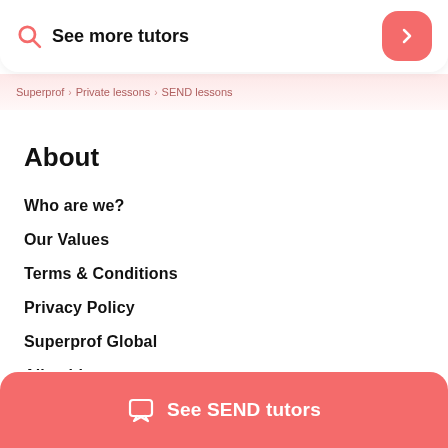See more tutors
Superprof > Private lessons > SEND lessons
About
Who are we?
Our Values
Terms & Conditions
Privacy Policy
Superprof Global
All subjects
Online Lessons
See SEND tutors